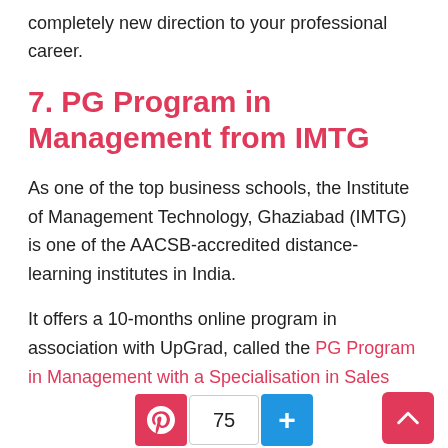completely new direction to your professional career.
7. PG Program in Management from IMTG
As one of the top business schools, the Institute of Management Technology, Ghaziabad (IMTG) is one of the AACSB-accredited distance-learning institutes in India.
It offers a 10-months online program in association with UpGrad, called the PG Program in Management with a Specialisation in Sales and Digital Marketing